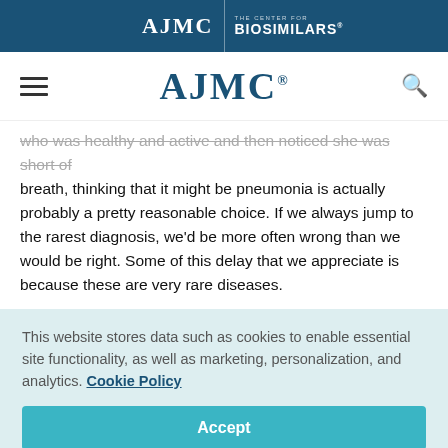AJMC | THE CENTER FOR BIOSIMILARS
AJMC
who was healthy and active and then noticed she was short of breath, thinking that it might be pneumonia is actually probably a pretty reasonable choice. If we always jump to the rarest diagnosis, we'd be more often wrong than we would be right. Some of this delay that we appreciate is because these are very rare diseases.
This website stores data such as cookies to enable essential site functionality, as well as marketing, personalization, and analytics. Cookie Policy
Accept
Deny